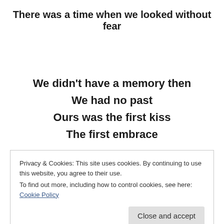There was a time when we looked without fear
We didn't have a memory then
We had no past
Ours was the first kiss
The first embrace
Privacy & Cookies: This site uses cookies. By continuing to use this website, you agree to their use.
To find out more, including how to control cookies, see here: Cookie Policy
Close and accept